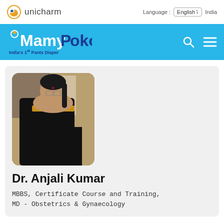unicharm | Language: English | India
[Figure (logo): MamyPoko logo with tagline 'India's 1st Pants Diaper' on a light blue banner with search and menu icons]
[Figure (photo): Photo of Dr. Anjali Kumar, a woman in a black saree with gold border, wearing glasses, with dark hair tied back, standing in front of a building background]
Dr. Anjali Kumar
MBBS, Certificate Course and Training, MD - Obstetrics & Gynaecology